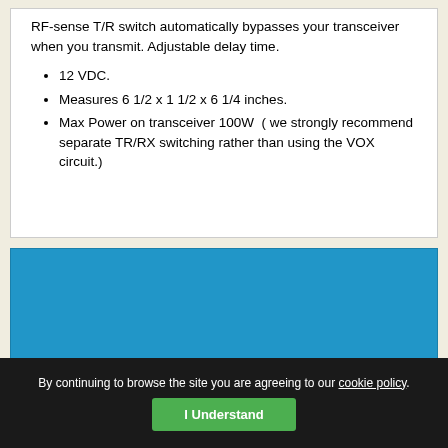RF-sense T/R switch automatically bypasses your transceiver when you transmit. Adjustable delay time.
12 VDC.
Measures 6 1/2 x 1 1/2 x 6 1/4 inches.
Max Power on transceiver 100W  ( we strongly recommend separate TR/RX switching rather than using the VOX circuit.)
[Figure (other): Blue background section, likely an advertisement or image placeholder area]
By continuing to browse the site you are agreeing to our cookie policy.
I Understand